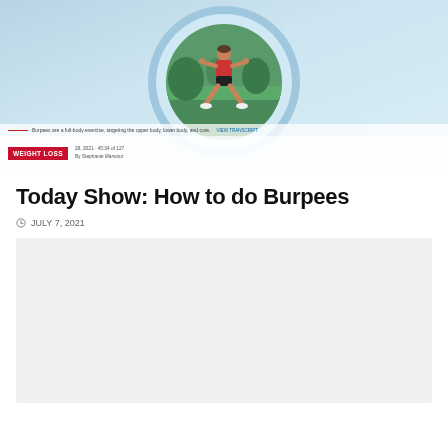[Figure (photo): Hero image showing a woman doing a burpee/squat exercise outdoors on grass, displayed within a circular frame on a light blue background. A red 'WEIGHT LOSS' tag is overlaid at the bottom left along with a caption line and author metadata.]
Today Show: How to do Burpees
JULY 7, 2021
[Figure (other): Embedded video or media placeholder block (light gray rectangle)]